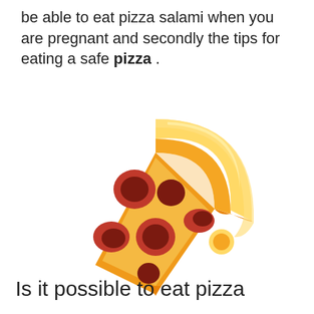be able to eat pizza salami when you are pregnant and secondly the tips for eating a safe pizza .
[Figure (illustration): Cartoon/emoji-style illustration of a pizza slice with orange/yellow crust and red salami toppings on an orange cheese base]
Is it possible to eat pizza